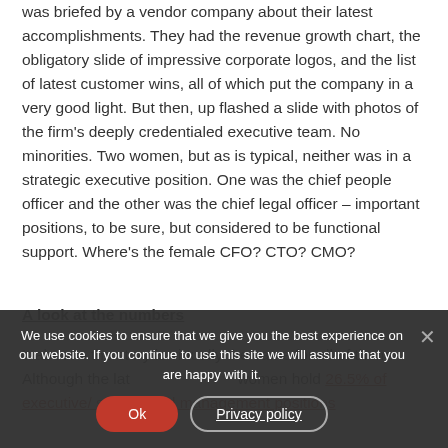was briefed by a vendor company about their latest accomplishments. They had the revenue growth chart, the obligatory slide of impressive corporate logos, and the list of latest customer wins, all of which put the company in a very good light. But then, up flashed a slide with photos of the firm's deeply credentialed executive team. No minorities. Two women, but as is typical, neither was in a strategic executive position. One was the chief people officer and the other was the chief legal officer – important positions, to be sure, but considered to be functional support. Where's the female CFO? CTO? CMO?
A look at the numbers
It about – the story is virtually the same for all of them. Although the lat women hold 26.5% of executive/ senior-level management positions